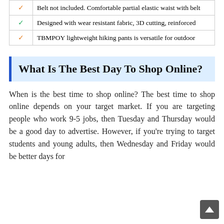| ✓ (orange) | Belt not included. Comfortable partial elastic waist with belt |
| ✓ (green) | Designed with wear resistant fabric, 3D cutting, reinforced |
| ✓ (orange) | TBMPOY lightweight hiking pants is versatile for outdoor |
What Is The Best Day To Shop Online?
When is the best time to shop online? The best time to shop online depends on your target market. If you are targeting people who work 9-5 jobs, then Tuesday and Thursday would be a good day to advertise. However, if you're trying to target students and young adults, then Wednesday and Friday would be better days for